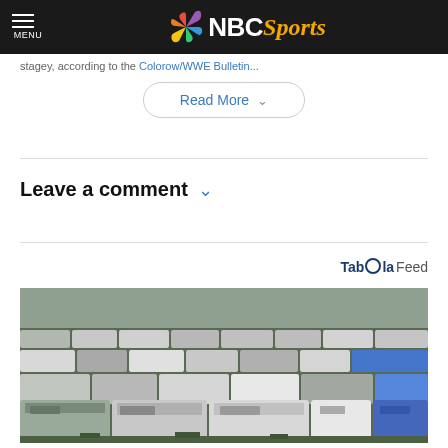NBC Sports
stagey, according to the [link text truncated]
Read More
Leave a comment
Taboola Feed
[Figure (photo): A large field packed with hundreds of used cars and trucks crowded together in rows, photographed from a slightly elevated angle.]